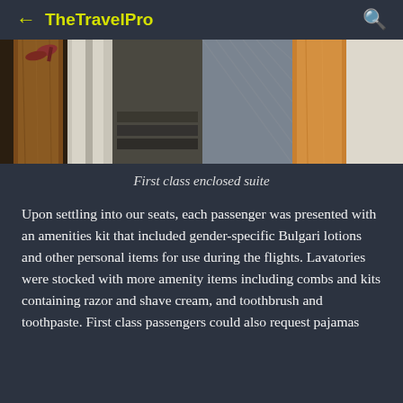← TheTravelPro 🔍
[Figure (photo): Interior of a first class enclosed suite on an airplane, showing wooden paneling, curtains, and privacy divider]
First class enclosed suite
Upon settling into our seats, each passenger was presented with an amenities kit that included gender-specific Bulgari lotions and other personal items for use during the flights. Lavatories were stocked with more amenity items including combs and kits containing razor and shave cream, and toothbrush and toothpaste. First class passengers could also request pajamas